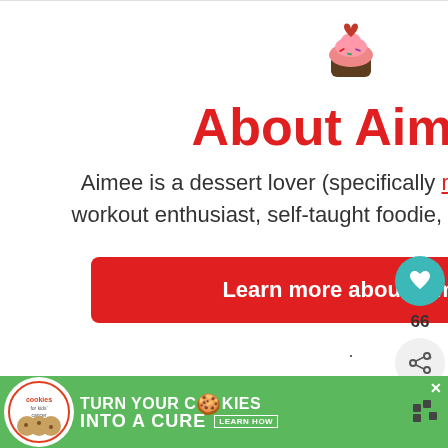[Figure (illustration): Cupcake icon with heart on top]
About Aimee
Aimee is a dessert lover (specifically rice krispie treats), workout enthusiast, self-taught foodie, and recipe creator.
Learn more about Aimee
[Figure (other): Sidebar heart button with count 66 and share button]
Affiliate Disclosure:
[Figure (photo): Apple Pound Cake thumbnail with WHAT'S NEXT label]
**There may be affiliate links in this post! By clicking on them, or purchasing recommended items I may receive a small co... Th... disclosure
[Figure (other): Ad banner: cookies for kids cancer - turn your COOKIES into a CURE LEARN HOW]